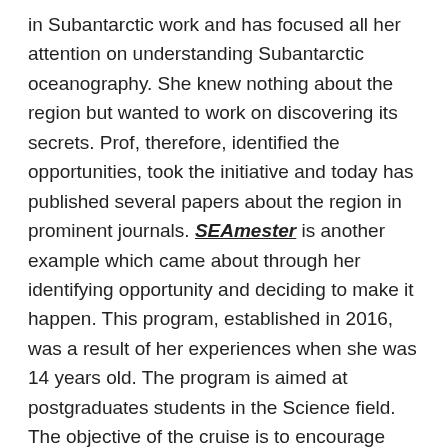in Subantarctic work and has focused all her attention on understanding Subantarctic oceanography. She knew nothing about the region but wanted to work on discovering its secrets. Prof, therefore, identified the opportunities, took the initiative and today has published several papers about the region in prominent journals. SEAmester is another example which came about through her identifying opportunity and deciding to make it happen. This program, established in 2016, was a result of her experiences when she was 14 years old. The program is aimed at postgraduates students in the Science field. The objective of the cruise is to encourage interaction between young South African scientists, lecturers and field specialists in a hands-on, practical environment on board the R/V SA